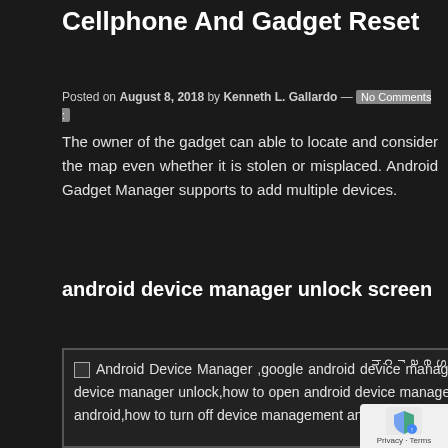Cellphone And Gadget Reset
Posted on August 8, 2018 by Kenneth L. Gallardo — No Comments :
The owner of the gadget can able to locate and consider the map even whether it is stolen or misplaced. Android Gadget Manager supports to add multiple devices.
android device manager unlock screen
[Figure (photo): Image with alt text: Android Device Manager ,google android device manager,android device manager location history,android device manager app,android device manager unlock,how to open android device manager in gmail,what is android companion device manager,what is device manager in android,how to turn off device management android,how do i unlock my phone]
Search